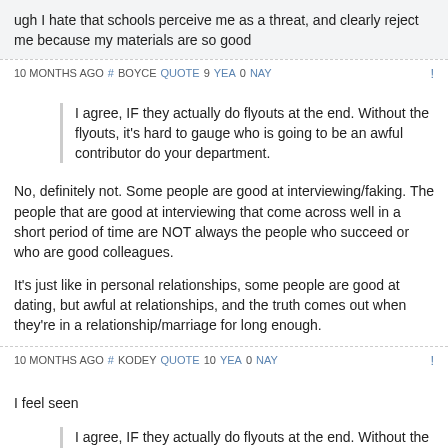ugh I hate that schools perceive me as a threat, and clearly reject me because my materials are so good
10 MONTHS AGO # BOYCE QUOTE 9 YEA 0 NAY !
I agree, IF they actually do flyouts at the end. Without the flyouts, it's hard to gauge who is going to be an awful contributor do your department.
No, definitely not. Some people are good at interviewing/faking. The people that are good at interviewing that come across well in a short period of time are NOT always the people who succeed or who are good colleagues.
It's just like in personal relationships, some people are good at dating, but awful at relationships, and the truth comes out when they're in a relationship/marriage for long enough.
10 MONTHS AGO # KODEY QUOTE 10 YEA 0 NAY !
I feel seen
I agree, IF they actually do flyouts at the end. Without the flyouts, it's hard to gauge who is going to be an awful contributor do your department.